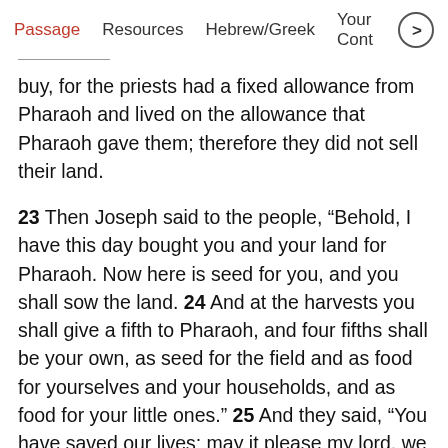Passage   Resources   Hebrew/Greek   Your Cont >
buy, for the priests had a fixed allowance from Pharaoh and lived on the allowance that Pharaoh gave them; therefore they did not sell their land.
23 Then Joseph said to the people, “Behold, I have this day bought you and your land for Pharaoh. Now here is seed for you, and you shall sow the land. 24 And at the harvests you shall give a fifth to Pharaoh, and four fifths shall be your own, as seed for the field and as food for yourselves and your households, and as food for your little ones.” 25 And they said, “You have saved our lives; may it please my lord, we will be servants to Pharaoh.” 26 So Joseph made it a statute concerning the land of Egypt, and it stands to this day, that Pharaoh should have the fifth; the land of the priests alone